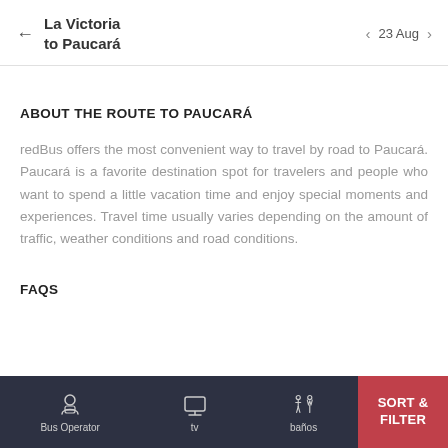La Victoria to Paucará — 23 Aug
ABOUT THE ROUTE TO PAUCARÁ
redBus offers the most convenient way to travel by road to Paucará. Paucará is a favorite destination spot for travelers and people who want to spend a little vacation time and enjoy special moments and experiences. Travel time usually varies depending on the amount of traffic, weather conditions and road conditions.
FAQS
Bus Operator | tv | baños | SORT & FILTER